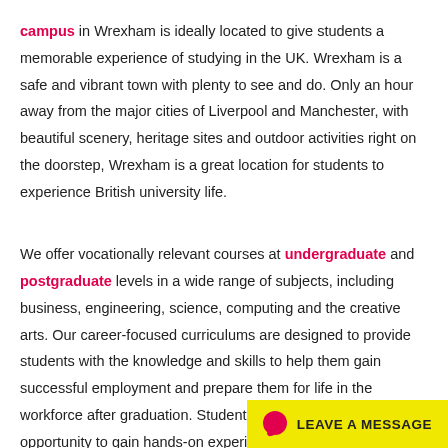campus in Wrexham is ideally located to give students a memorable experience of studying in the UK. Wrexham is a safe and vibrant town with plenty to see and do. Only an hour away from the major cities of Liverpool and Manchester, with beautiful scenery, heritage sites and outdoor activities right on the doorstep, Wrexham is a great location for students to experience British university life.

We offer vocationally relevant courses at undergraduate and postgraduate levels in a wide range of subjects, including business, engineering, science, computing and the creative arts. Our career-focused curriculums are designed to provide students with the knowledge and skills to help them gain successful employment and prepare them for life in the workforce after graduation. Students will also have the opportunity to gain hands-on experience through work placements and the chance to showcase their work in competitions and exhibitions.

By choosing Wrexham Glyndŵr University, you will become part of a friendly, supportive community. Our lecturing teams
LEAVE A MESSAGE